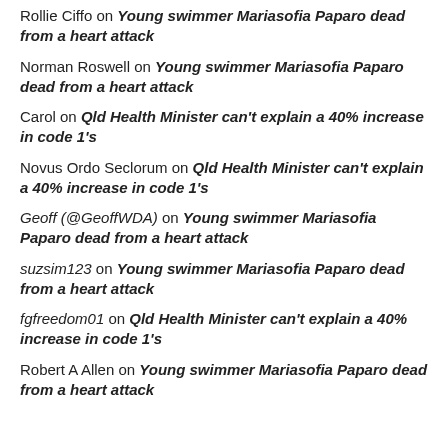Rollie Ciffo on Young swimmer Mariasofia Paparo dead from a heart attack
Norman Roswell on Young swimmer Mariasofia Paparo dead from a heart attack
Carol on Qld Health Minister can't explain a 40% increase in code 1's
Novus Ordo Seclorum on Qld Health Minister can't explain a 40% increase in code 1's
Geoff (@GeoffWDA) on Young swimmer Mariasofia Paparo dead from a heart attack
suzsim123 on Young swimmer Mariasofia Paparo dead from a heart attack
fgfreedom01 on Qld Health Minister can't explain a 40% increase in code 1's
Robert A Allen on Young swimmer Mariasofia Paparo dead from a heart attack